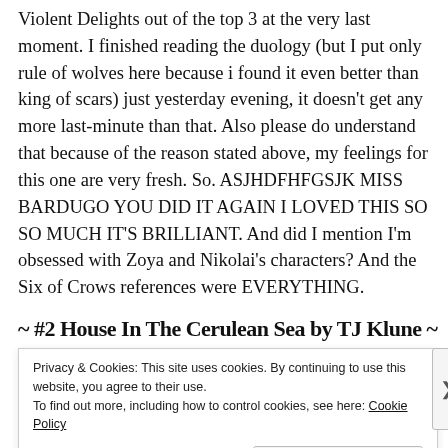Violent Delights out of the top 3 at the very last moment. I finished reading the duology (but I put only rule of wolves here because i found it even better than king of scars) just yesterday evening, it doesn't get any more last-minute than that. Also please do understand that because of the reason stated above, my feelings for this one are very fresh. So. ASJHDFHFGSJK MISS BARDUGO YOU DID IT AGAIN I LOVED THIS SO SO MUCH IT'S BRILLIANT. And did I mention I'm obsessed with Zoya and Nikolai's characters? And the Six of Crows references were EVERYTHING.
~ #2 House In The Cerulean Sea by TJ Klune ~
Privacy & Cookies: This site uses cookies. By continuing to use this website, you agree to their use.
To find out more, including how to control cookies, see here: Cookie Policy